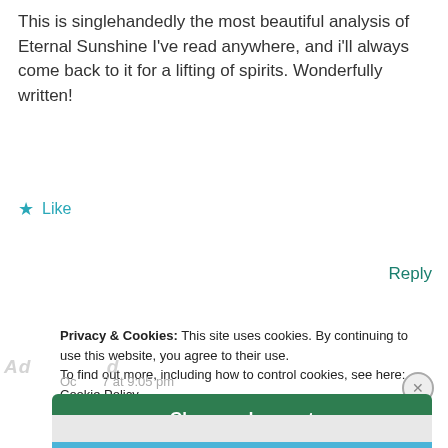This is singlehandedly the most beautiful analysis of Eternal Sunshine I've read anywhere, and i'll always come back to it for a lifting of spirits. Wonderfully written!
★ Like
Reply
Privacy & Cookies: This site uses cookies. By continuing to use this website, you agree to their use.
To find out more, including how to control cookies, see here: Cookie Policy
Close and accept